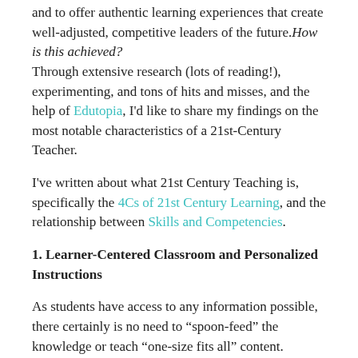and to offer authentic learning experiences that create well-adjusted, competitive leaders of the future. How is this achieved? Through extensive research (lots of reading!), experimenting, and tons of hits and misses, and the help of Edutopia, I'd like to share my findings on the most notable characteristics of a 21st-Century Teacher.
I've written about what 21st Century Teaching is, specifically the 4Cs of 21st Century Learning, and the relationship between Skills and Competencies.
1. Learner-Centered Classroom and Personalized Instructions
As students have access to any information possible, there certainly is no need to “spoon-feed” the knowledge or teach “one-size fits all” content.